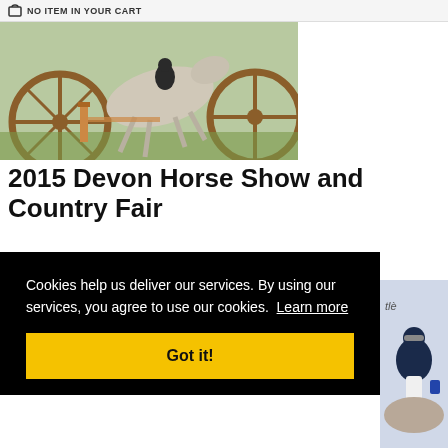NO ITEM IN YOUR CART
[Figure (photo): Horse jumping over an obstacle at an equestrian show, with wooden wheel decorations visible in the background]
2015 Devon Horse Show and Country Fair
Join us for all the fantastic hunters, fast jumpers and, of course, the famous Devon fudge. Stay tuned here for all the news, behind-the-scenes stories, inspiring competitors and lovely photos from the magical 11 days that is Devon.
Cookies help us deliver our services. By using our services, you agree to use our cookies. Learn more
Got it!
[Figure (photo): Equestrian rider on horseback, partially visible on the right side of the screen]